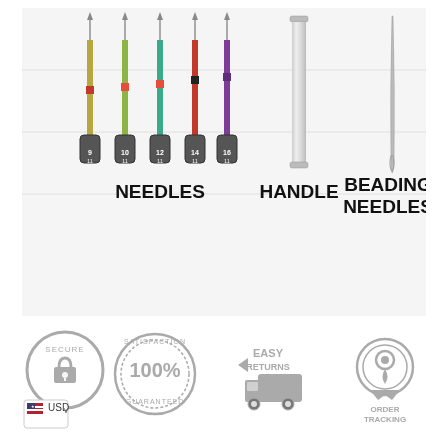[Figure (photo): Product photo showing five colored interchangeable needles (sizes 9, 10, 12, 14, 16), a metal handle/tube, and beading needles, with labels NEEDLES, HANDLE, BEADING NEEDLES below each group]
[Figure (infographic): Trust badge icons row: Secure lock badge with USD currency selector, Satisfaction 100% Guaranteed badge, Easy Returns truck badge, Order Tracking badge]